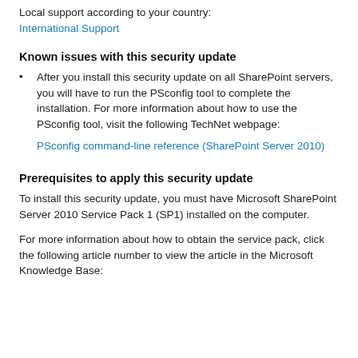Local support according to your country:
International Support
Known issues with this security update
After you install this security update on all SharePoint servers, you will have to run the PSconfig tool to complete the installation. For more information about how to use the PSconfig tool, visit the following TechNet webpage:
PSconfig command-line reference (SharePoint Server 2010)
Prerequisites to apply this security update
To install this security update, you must have Microsoft SharePoint Server 2010 Service Pack 1 (SP1) installed on the computer.
For more information about how to obtain the service pack, click the following article number to view the article in the Microsoft Knowledge Base: